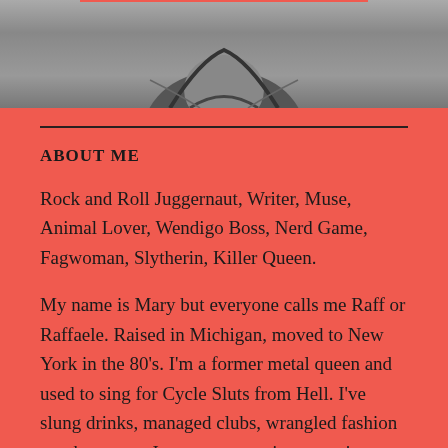[Figure (photo): Black and white photo of a person wearing a denim or leather jacket, cropped at the top of the page]
ABOUT ME
Rock and Roll Juggernaut, Writer, Muse, Animal Lover, Wendigo Boss, Nerd Game, Fagwoman, Slytherin, Killer Queen.
My name is Mary but everyone calls me Raff or Raffaele. Raised in Michigan, moved to New York in the 80's. I'm a former metal queen and used to sing for Cycle Sluts from Hell. I've slung drinks, managed clubs, wrangled fashion numbers, now I manage a music promotion